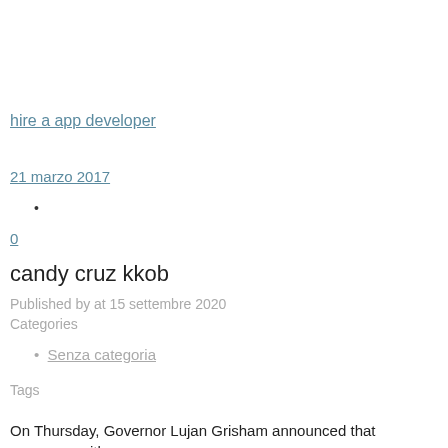hire a app developer
21 marzo 2017
•
0
candy cruz kkob
Published by at 15 settembre 2020
Categories
Senza categoria
Tags
On Thursday, Governor Lujan Grisham announced that museums with